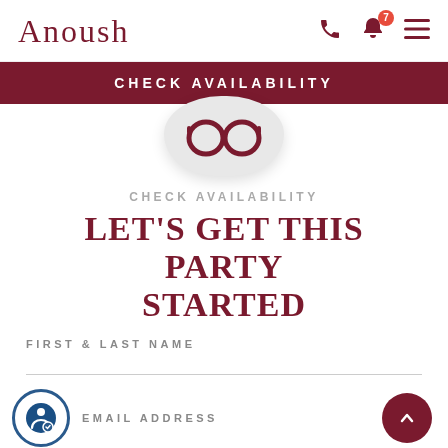ANOUSH
CHECK AVAILABILITY
[Figure (illustration): Circular icon graphic with spectacles/eyeglasses symbol on light grey circle background]
CHECK AVAILABILITY
LET'S GET THIS PARTY STARTED
FIRST & LAST NAME
EMAIL ADDRESS